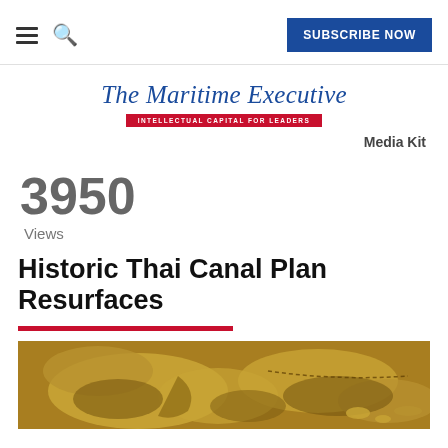≡ 🔍  SUBSCRIBE NOW
[Figure (logo): The Maritime Executive logo with tagline 'INTELLECTUAL CAPITAL FOR LEADERS']
Media Kit
3950
Views
Historic Thai Canal Plan Resurfaces
[Figure (map): Antique-style map showing Southeast Asia region with brown/gold tones]